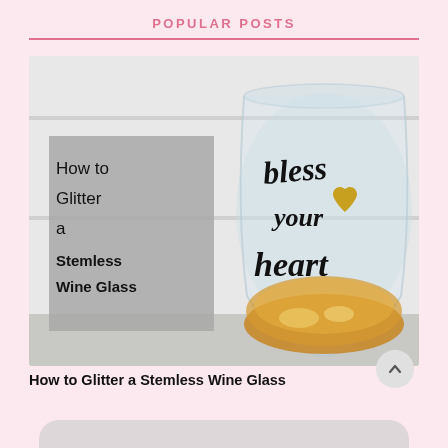POPULAR POSTS
[Figure (photo): A stemless wine glass with gold glitter on the bottom and 'bless your heart' written in black script on the glass, alongside a gray overlay text box reading 'How to Glitter a Stemless Wine Glass']
How to Glitter a Stemless Wine Glass